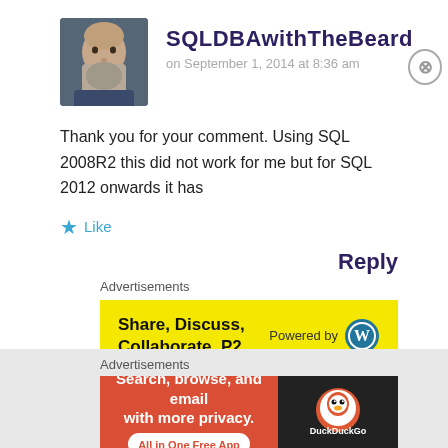SQLDBAwithTheBeard
on September 1, 2014 at 8:36 am
Thank you for your comment. Using SQL 2008R2 this did not work for me but for SQL 2012 onwards it has
★ Like
Reply
Advertisements
[Figure (infographic): Yellow advertisement banner: Share, Discuss, Collaborate, P2. Powered by WordPress logo]
Advertisements
[Figure (infographic): DuckDuckGo advertisement: Search, browse, and email with more privacy. All in One Free App]